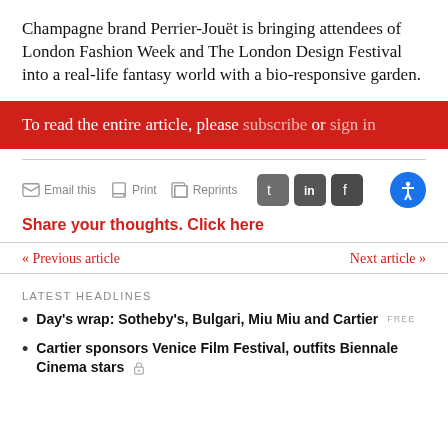Champagne brand Perrier-Jouët is bringing attendees of London Fashion Week and The London Design Festival into a real-life fantasy world with a bio-responsive garden.
To read the entire article, please subscribe or sign in
Email this  Print  Reprints
Share your thoughts. Click here
« Previous article
Next article »
LATEST HEADLINES
Day's wrap: Sotheby's, Bulgari, Miu Miu and Cartier FREE
Cartier sponsors Venice Film Festival, outfits Biennale Cinema stars